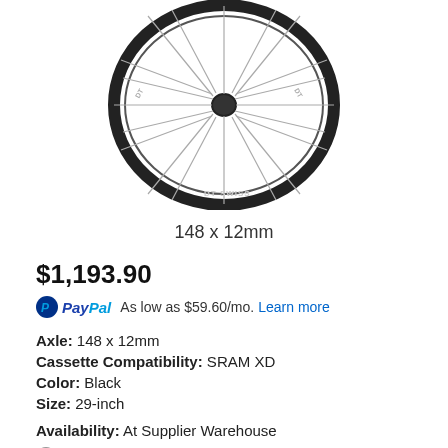[Figure (photo): A bicycle wheel (DT Swiss brand) viewed from the front, showing spokes radiating from hub, dark rim with DT Swiss branding, on white background.]
148 x 12mm
$1,193.90
PayPal As low as $59.60/mo. Learn more
Axle: 148 x 12mm
Cassette Compatibility: SRAM XD
Color: Black
Size: 29-inch
Availability: At Supplier Warehouse
Deliver to Address